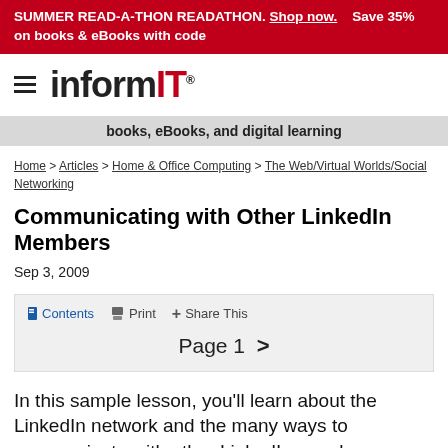SUMMER READ-A-THON READATHON. Save 35% on books & eBooks with code READATHON. Shop now.
[Figure (logo): InformIT logo with hamburger menu icon]
books, eBooks, and digital learning
Home > Articles > Home & Office Computing > The Web/Virtual Worlds/Social Networking
Communicating with Other LinkedIn Members
Sep 3, 2009
Contents  Print  Share This
Page 1  >
In this sample lesson, you'll learn about the LinkedIn network and the many ways to communicate with other LinkedIn members.
This chapter is from the book: